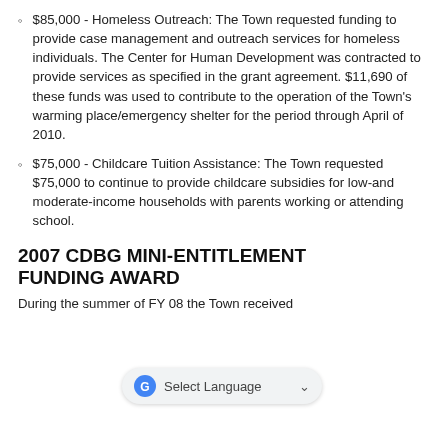$85,000 - Homeless Outreach: The Town requested funding to provide case management and outreach services for homeless individuals. The Center for Human Development was contracted to provide services as specified in the grant agreement. $11,690 of these funds was used to contribute to the operation of the Town's warming place/emergency shelter for the period through April of 2010.
$75,000 - Childcare Tuition Assistance: The Town requested $75,000 to continue to provide childcare subsidies for low-and moderate-income households with parents working or attending school.
2007 CDBG MINI-ENTITLEMENT FUNDING AWARD
During the summer of FY 08 the Town received